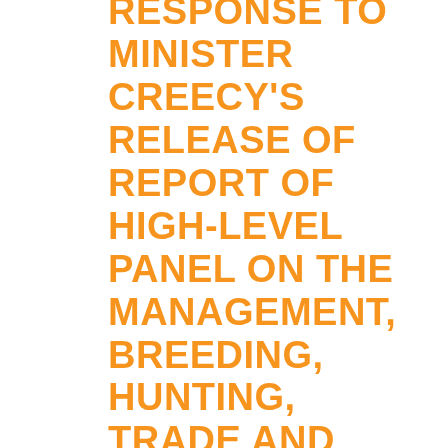RESPONSE TO MINISTER CREECY'S RELEASE OF REPORT OF HIGH-LEVEL PANEL ON THE MANAGEMENT, BREEDING, HUNTING, TRADE AND HANDLING OF ELEPHANT, LION, LEOPARD